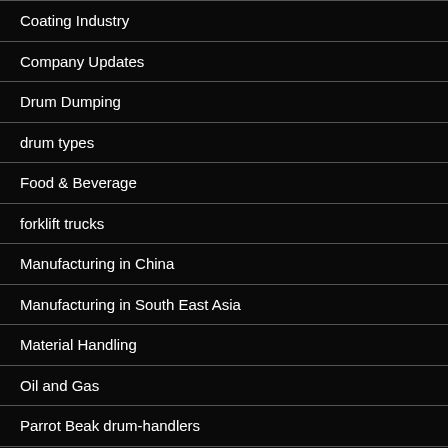Coating Industry
Company Updates
Drum Dumping
drum types
Food & Beverage
forklift trucks
Manufacturing in China
Manufacturing in South East Asia
Material Handling
Oil and Gas
Parrot Beak drum-handlers
ROI